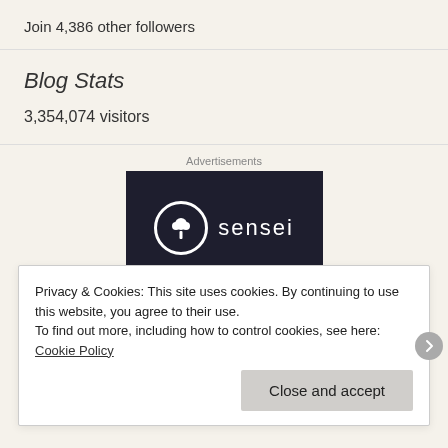Join 4,386 other followers
Blog Stats
3,354,074 visitors
Advertisements
[Figure (logo): Sensei logo on dark background with circular tree icon and the word 'sensei' in white lowercase letters]
Privacy & Cookies: This site uses cookies. By continuing to use this website, you agree to their use.
To find out more, including how to control cookies, see here: Cookie Policy
Close and accept